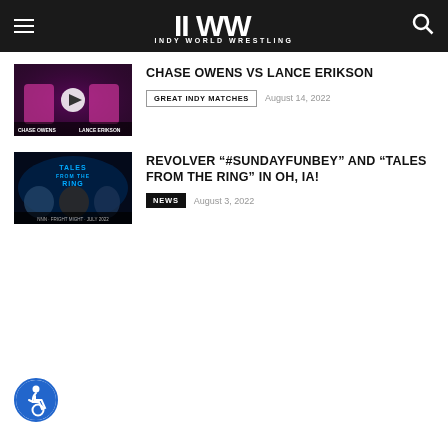INDY WORLD WRESTLING
CHASE OWENS VS LANCE ERIKSON
GREAT INDY MATCHES   August 14, 2022
REVOLVER “#SUNDAYFUNBEY” AND “TALES FROM THE RING” IN OH, IA!
NEWS   August 3, 2022